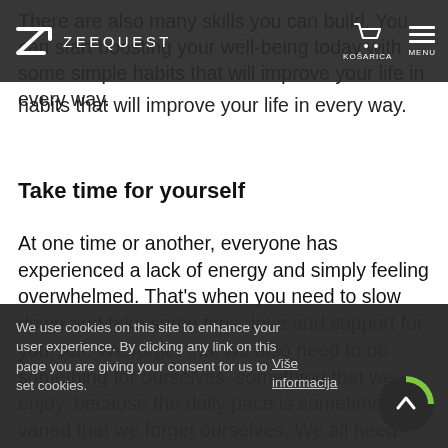ZEEQUEST — nav bar with logo, KOŠARICA (cart), MENU
There are also many skills you can build. You can start boosting your well-being today with some simple habits that will improve your life in every way.
Take time for yourself
At one time or another, everyone has experienced a lack of energy and simply feeling overwhelmed. That's when you need to slow down and take some time, love and support for yourself. We forget that we also need to do something for ourselves, something that we enjoy, because the daily pace is sometimes so varied that we forget ourselves. We all need time to
We use cookies on this site to enhance your user experience. By clicking any link on this page you are giving your consent for us to set cookies.
Više informacija